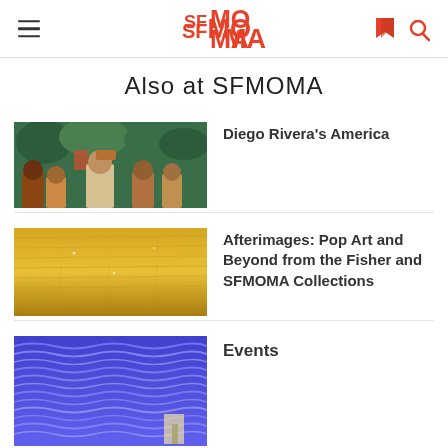SFMOMA
Also at SFMOMA
[Figure (photo): Diego Rivera mural painting showing figures in tropical setting with warm colors]
Diego Rivera's America
[Figure (photo): Golden/yellow textured artwork surface]
Afterimages: Pop Art and Beyond from the Fisher and SFMOMA Collections
[Figure (photo): Blue and white wavy pattern artwork]
Events